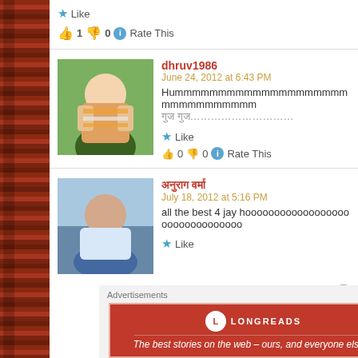Like
👍 1 👎 0 ℹ Rate This
dhruv1986
June 24, 2012 at 6:43 PM
Hummmmmmmmmmmmmmmmmmmmmmmmmmmmmmm
गुज गुज…………………………
Like
👍 0 👎 0 ℹ Rate This
अनुराग वर्मा
July 18, 2012 at 5:16 PM
all the best 4 jay hoooooooooooooooooooooooooooooooo
Like
Advertisements
[Figure (infographic): Longreads advertisement banner: red background with Longreads logo and tagline 'The best stories on the web – ours, and everyone else's.']